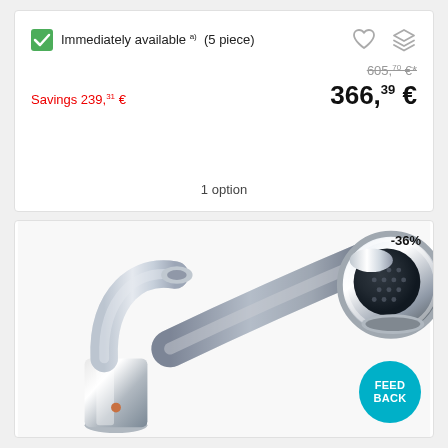Immediately available a) (5 piece)
605,70 €*
Savings 239,31 €
366,39 €
1 option
-36%
[Figure (photo): Close-up product photo of a chrome kitchen faucet with pull-out spray head, showing the body of the tap and the spray head attached to a flexible hose]
FEED BACK